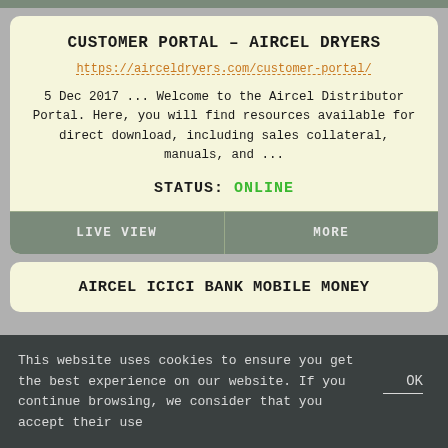CUSTOMER PORTAL – AIRCEL DRYERS
https://airceldryers.com/customer-portal/
5 Dec 2017 ... Welcome to the Aircel Distributor Portal. Here, you will find resources available for direct download, including sales collateral, manuals, and ...
STATUS: ONLINE
LIVE VIEW
MORE
AIRCEL ICICI BANK MOBILE MONEY
This website uses cookies to ensure you get the best experience on our website. If you continue browsing, we consider that you accept their use